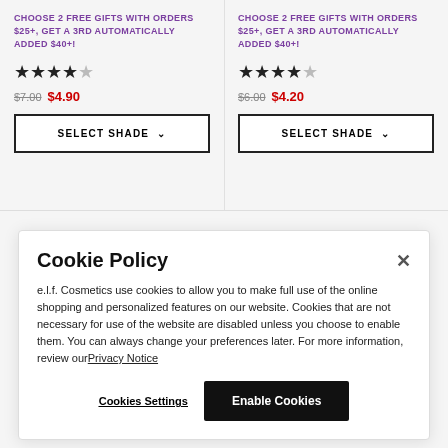CHOOSE 2 FREE GIFTS WITH ORDERS $25+, GET A 3RD AUTOMATICALLY ADDED $40+!
★★★★☆ $7.00 $4.90
SELECT SHADE
CHOOSE 2 FREE GIFTS WITH ORDERS $25+, GET A 3RD AUTOMATICALLY ADDED $40+!
★★★★☆ $6.00 $4.20
SELECT SHADE
Cookie Policy
e.l.f. Cosmetics use cookies to allow you to make full use of the online shopping and personalized features on our website. Cookies that are not necessary for use of the website are disabled unless you choose to enable them. You can always change your preferences later. For more information, review our Privacy Notice
Cookies Settings
Enable Cookies